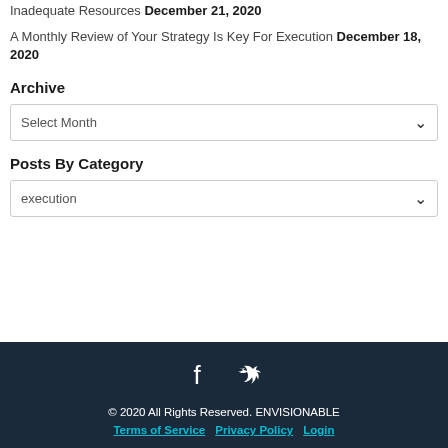Inadequate Resources December 21, 2020
A Monthly Review of Your Strategy Is Key For Execution December 18, 2020
Archive
Select Month
Posts By Category
execution
© 2020 All Rights Reserved. ENVISIONABLE  Terms of Service  Privacy Policy  Login